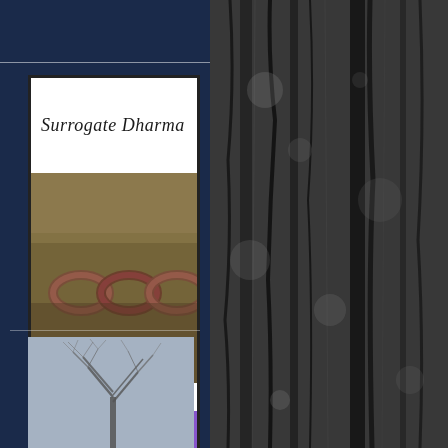[Figure (photo): Book cover for 'Surrogate Dharma' by Allison Grayhurst. The cover has a white top section with the italic script title, a middle section with a photo of metal chain links on a textured background, a white stripe, and a purple bottom section with the author's name in italic script.]
[Figure (photo): A bare tree with winter branches photographed against a pale gray-blue sky, positioned in the lower left of the composition.]
[Figure (photo): Close-up texture of dark wet tree bark with various crevices and lichen, occupying the right half of the image.]